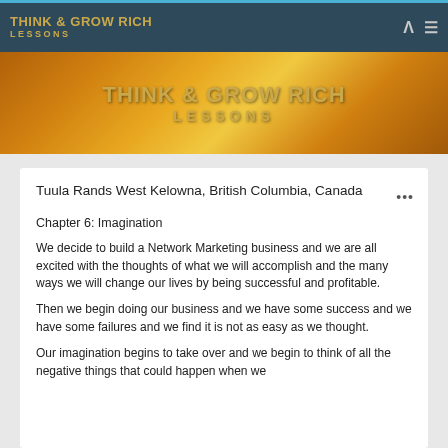THINK & GROW RICH LESSONS
[Figure (logo): Think & Grow Rich Lessons banner with golden text on orange/flame background]
Tuula Rands West Kelowna, British Columbia, Canada
Chapter 6: Imagination
We decide to build a Network Marketing business and we are all excited with the thoughts of what we will accomplish and the many ways we will change our lives by being successful and profitable.
Then we begin doing our business and we have some success and we have some failures and we find it is not as easy as we thought.
Our imagination begins to take over and we begin to think of all the negative things that could happen when we